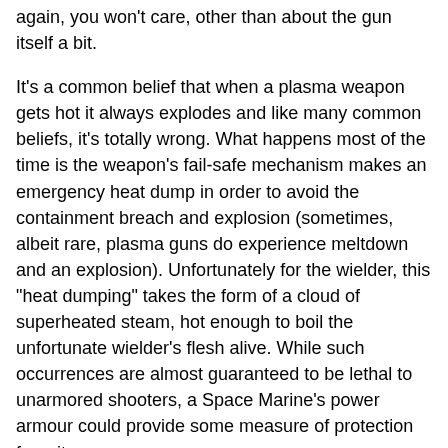again, you won't care, other than about the gun itself a bit.
It's a common belief that when a plasma weapon gets hot it always explodes and like many common beliefs, it's totally wrong. What happens most of the time is the weapon's fail-safe mechanism makes an emergency heat dump in order to avoid the containment breach and explosion (sometimes, albeit rare, plasma guns do experience meltdown and an explosion). Unfortunately for the wielder, this "heat dumping" takes the form of a cloud of superheated steam, hot enough to boil the unfortunate wielder's flesh alive. While such occurrences are almost guaranteed to be lethal to unarmored shooters, a Space Marine's power armour could provide some measure of protection from it.
Note that all of the previous paragraph is nullified in 8th edition; see the section below:
8th edition crunch